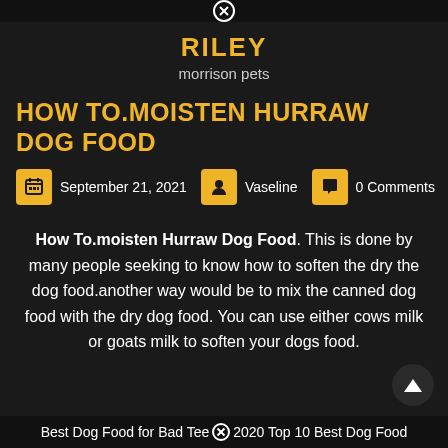RILEY
morrison pets
HOW TO.MOISTEN HURRAW DOG FOOD
September 21, 2021   Vaseline   0 Comments
How To.moisten Hurraw Dog Food. This is done by many people seeking to know how to soften the dry the dog food.another way would be to mix the canned dog food with the dry dog food. You can use either cows milk or goats milk to soften your dogs food.
Best Dog Food for Bad Tee   2020 Top 10 Best Dog Food